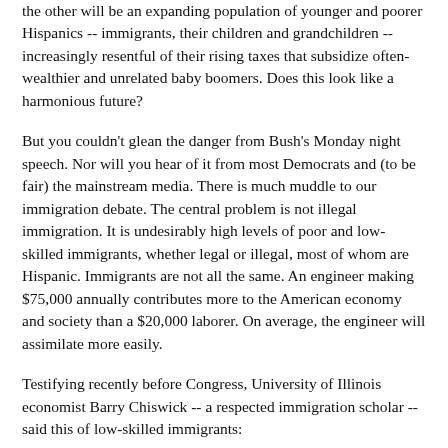the other will be an expanding population of younger and poorer Hispanics -- immigrants, their children and grandchildren -- increasingly resentful of their rising taxes that subsidize often-wealthier and unrelated baby boomers. Does this look like a harmonious future?
But you couldn't glean the danger from Bush's Monday night speech. Nor will you hear of it from most Democrats and (to be fair) the mainstream media. There is much muddle to our immigration debate. The central problem is not illegal immigration. It is undesirably high levels of poor and low-skilled immigrants, whether legal or illegal, most of whom are Hispanic. Immigrants are not all the same. An engineer making $75,000 annually contributes more to the American economy and society than a $20,000 laborer. On average, the engineer will assimilate more easily.
Testifying recently before Congress, University of Illinois economist Barry Chiswick -- a respected immigration scholar -- said this of low-skilled immigrants:
``Their presence in the labor market increases competition for low-skilled jobs, reducing the earnings of low-skilled